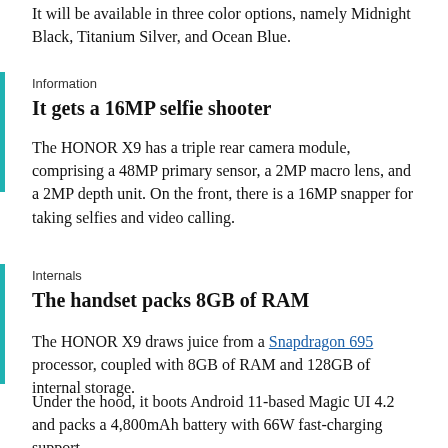It will be available in three color options, namely Midnight Black, Titanium Silver, and Ocean Blue.
Information
It gets a 16MP selfie shooter
The HONOR X9 has a triple rear camera module, comprising a 48MP primary sensor, a 2MP macro lens, and a 2MP depth unit. On the front, there is a 16MP snapper for taking selfies and video calling.
Internals
The handset packs 8GB of RAM
The HONOR X9 draws juice from a Snapdragon 695 processor, coupled with 8GB of RAM and 128GB of internal storage.
Under the hood, it boots Android 11-based Magic UI 4.2 and packs a 4,800mAh battery with 66W fast-charging support.
To ensure connectivity, the device offers support for